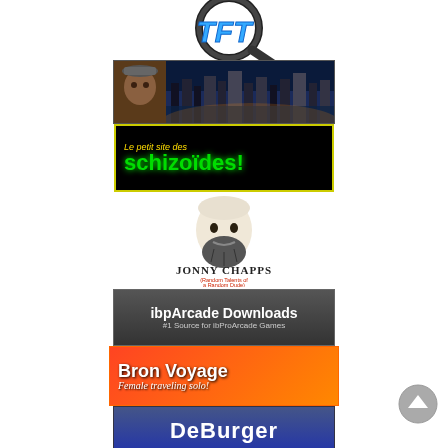[Figure (logo): TFT logo with magnifying glass icon and italic bold blue 'TFT' text]
[Figure (illustration): Sonny Boy's Story banner - dark blue city skyline background with man's face on left, white bold text 'Sonny Boy's Story']
[Figure (illustration): Le petit site des schizoïdes! - black banner with yellow italic top text and bright green bold large text]
[Figure (illustration): Jonny Chapps logo - illustration of bearded man's head with stylized text 'JONNY CHAPPS' and red subtitle '(Random Talents of a Random Dude)']
[Figure (illustration): ibpArcade Downloads - dark grey banner with white text '#1 Source for ibProArcade Games']
[Figure (illustration): Bron Voyage - orange/red banner with bold white text and italic subtitle 'Female traveling solo!']
[Figure (illustration): DeBurger - blue banner with white bold text 'DeBurger']
[Figure (illustration): Bottom banner row with blue left section showing mountain/cross icon and white right section showing two circular eye-like icons]
[Figure (illustration): Grey circular scroll-to-top button at bottom right]